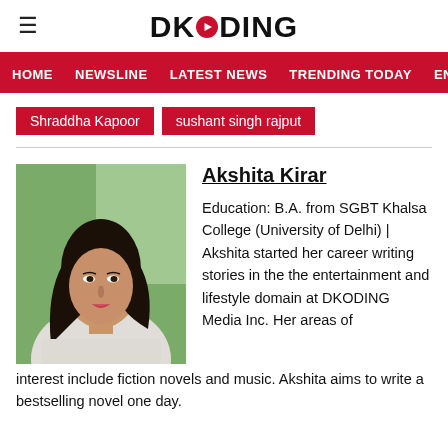DKODING
HOME  NEWSLINE  LATEST NEWS  TRENDING TODAY  ENT
Shraddha Kapoor   sushant singh rajput
[Figure (photo): Portrait photo of Akshita Kirar, a young woman with long dark hair, wearing a light-colored sweater, photographed against a green background.]
Akshita Kirar
Education: B.A. from SGBT Khalsa College (University of Delhi) | Akshita started her career writing stories in the the entertainment and lifestyle domain at DKODING Media Inc. Her areas of interest include fiction novels and music. Akshita aims to write a bestselling novel one day.